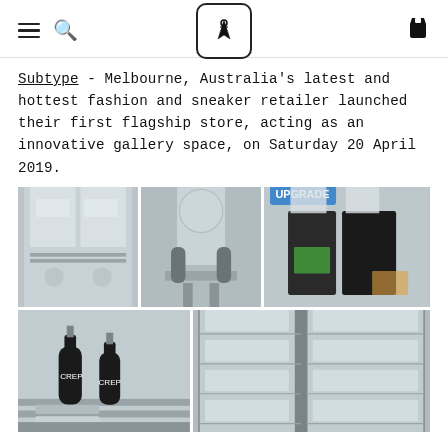Navigation header with hamburger menu, search icon, logo (flask/dress icon in rounded box), and shopping bag icon
Subtype - Melbourne, Australia's latest and hottest fashion and sneaker retailer launched their first flagship store, acting as an innovative gallery space, on Saturday 20 April 2019.
[Figure (photo): A collage of four photos showing the interior of the Subtype flagship store: refrigerator display cases with sneakers and products, two people holding clear bags with an 'UPGRADE' sign, spray bottles/cleaning products on a shelf, and a glass-fronted refrigerator display case filled with products.]